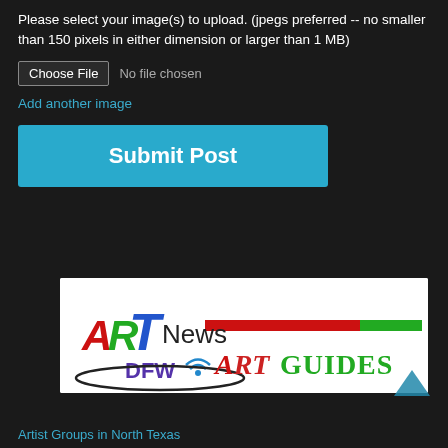Please select your image(s) to upload. (jpegs preferred -- no smaller than 150 pixels in either dimension or larger than 1 MB)
Choose File  No file chosen
Add another image
Submit Post
[Figure (logo): ARTNews DFW Art Guides logo on white background with red and green horizontal bars]
Artist Groups in North Texas